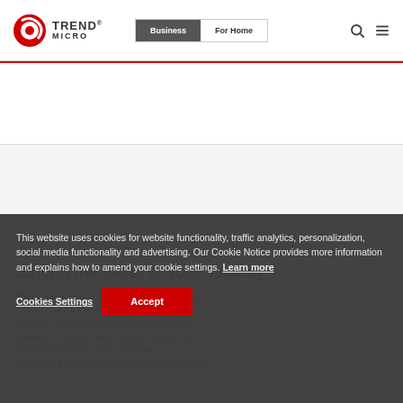Trend Micro | Business | For Home
Extend the value of your security
Many organizations use a layered approach to defend against threats by investing in firewalls, IPS, endpoint security, and security gateways. Unfortunately, targeted attacks are designed to bypass these defenses. Discovery Analyzer bridges solutions that provide
This website uses cookies for website functionality, traffic analytics, personalization, social media functionality and advertising. Our Cookie Notice provides more information and explains how to amend your cookie settings. Learn more
Cookies Settings | Accept